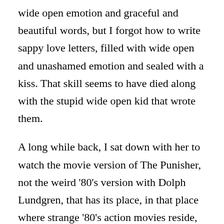wide open emotion and graceful and beautiful words, but I forgot how to write sappy love letters, filled with wide open and unashamed emotion and sealed with a kiss. That skill seems to have died along with the stupid wide open kid that wrote them.
A long while back, I sat down with her to watch the movie version of The Punisher, not the weird '80's version with Dolph Lundgren, that has its place, in that place where strange '80's action movies reside, there with Jean Claude Van Damme in Kickboxer, a place where it is okay to be a bad movie as long as you are a fun movie, and not the 2008 follow up, Punisher War Zone, which is terrible but has enough ridiculous redeeming moments in it that I just can't bring myself to hate it, despite its abject absurdity and awfulness. No, we are talking about the 2004 version with Thomas Jane which managed to take the story of Frank